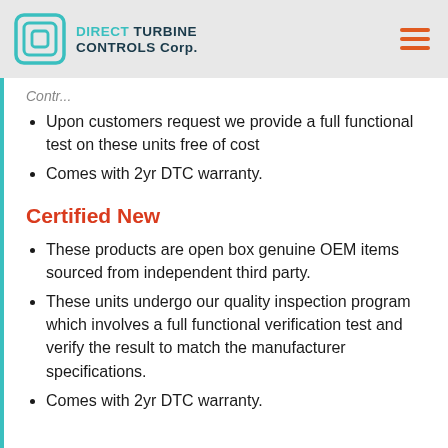DIRECT TURBINE CONTROLS Corp.
Contr...
Upon customers request we provide a full functional test on these units free of cost
Comes with 2yr DTC warranty.
Certified New
These products are open box genuine OEM items sourced from independent third party.
These units undergo our quality inspection program which involves a full functional verification test and verify the result to match the manufacturer specifications.
Comes with 2yr DTC warranty.